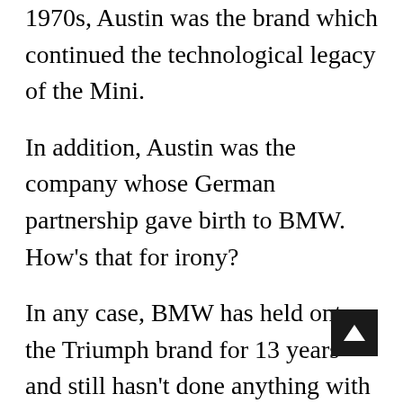1970s, Austin was the brand which continued the technological legacy of the Mini.
In addition, Austin was the company whose German partnership gave birth to BMW. How’s that for irony?
In any case, BMW has held onto the Triumph brand for 13 years and still hasn’t done anything with it, so it’s probable that they only kept hold of it to prevent it from being used on a four-wheeled extension of the range of their rival Triumph Motorcycles. To be honest, I don’t think the road ends in 2022 for the new star list of